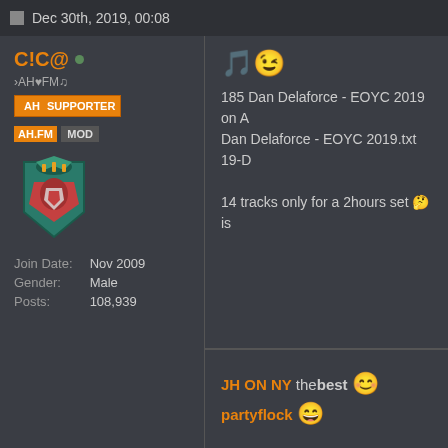Dec 30th, 2019, 00:08
C!C@ • ›AH♥FM♫ AH SUPPORTER AH.FM MOD
[Figure (logo): Liverpool FC crest avatar in teal/pixelated style]
Join Date: Nov 2009
Gender: Male
Posts: 108,939
🎵😉 185 Dan Delaforce - EOYC 2019 on A... Dan Delaforce - EOYC 2019.txt 19-D... 14 tracks only for a 2hours set 🤔 is...
JH ON NY thebest 😊 partyflock 😄